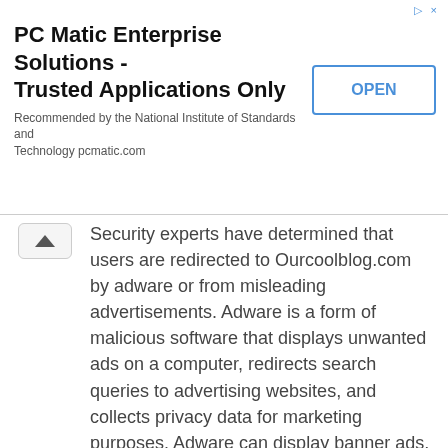[Figure (other): Advertisement banner for PC Matic Enterprise Solutions with title, subtext, and OPEN button]
Security experts have determined that users are redirected to Ourcoolblog.com by adware or from misleading advertisements. Adware is a form of malicious software that displays unwanted ads on a computer, redirects search queries to advertising websites, and collects privacy data for marketing purposes. Adware can display banner ads, full-screen advertisements, pop-ups, videos, or other forms of online advertising. Perhaps you agree that ads or pop-ups are just a small problem. But these unwanted ads consume system resources and slows down the performance of your computer.